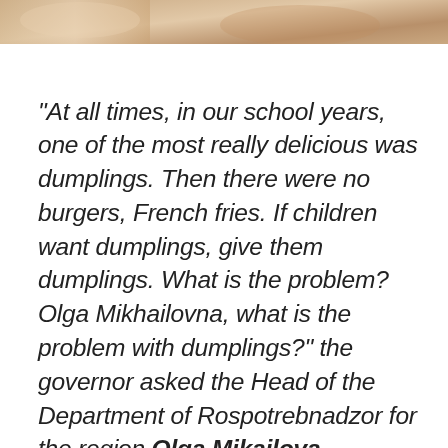[Figure (photo): Cropped photo strip at the top of the page showing food or people, partially visible]
“At all times, in our school years, one of the most really delicious was dumplings. Then there were no burgers, French fries. If children want dumplings, give them dumplings. What is the problem? Olga Mikhailovna, what is the problem with dumplings?” the governor asked the Head of the Department of Rospotrebnadzor for the region Olga Mikailova.